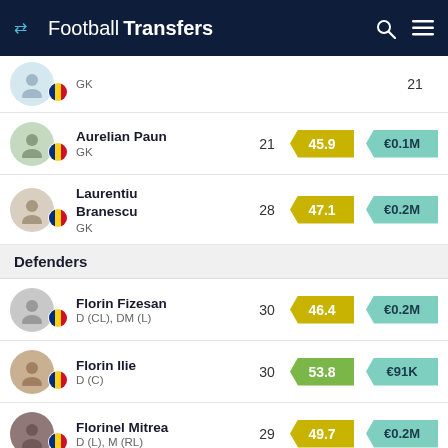FootballTransfers
GK, age 21 (partial row)
Aurelian Paun, GK, age 21, score 45.9, value €0.1M
Laurentiu Branescu, GK, age 28, score 47.1, value €0.2M
Defenders
Florin Fizesan, D (CL), DM (L), age 30, score 46.4, value €0.2M
Florin Ilie, D (C), age 30, score 53.8, value €91K
Florinel Mitrea, D (L), M (RL), age 29, score 49.7, value €0.2M
Roberto, D, AM, M (R), age 24